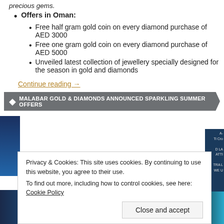precious gems.
Offers in Oman:
Free half gram gold coin on every diamond purchase of AED 3000
Free one gram gold coin on every diamond purchase of AED 5000
Unveiled latest collection of jewellery specially designed for the season in gold and diamonds
Continue reading →
MALABAR GOLD & DIAMONDS ANNOUNCED SPARKLING SUMMER OFFERS
Privacy & Cookies: This site uses cookies. By continuing to use this website, you agree to their use. To find out more, including how to control cookies, see here: Cookie Policy
Close and accept